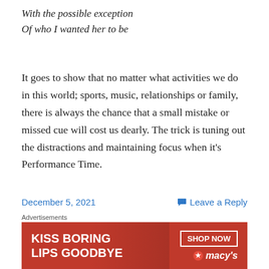With the possible exception
Of who I wanted her to be
It goes to show that no matter what activities we do in this world; sports, music, relationships or family, there is always the chance that a small mistake or missed cue will cost us dearly. The trick is tuning out the distractions and maintaining focus when it's Performance Time.
December 5, 2021    Leave a Reply
50 Years of Running: The Achilles Heel
[Figure (other): Macy's advertisement banner: KISS BORING LIPS GOODBYE with SHOP NOW button and Macy's logo]